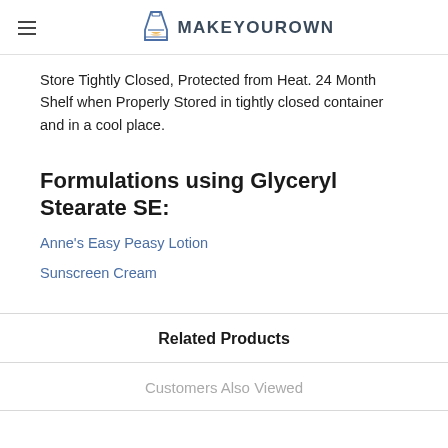MakeYourOwn
Store Tightly Closed, Protected from Heat. 24 Month Shelf when Properly Stored in tightly closed container and in a cool place.
Formulations using Glyceryl Stearate SE:
Anne's Easy Peasy Lotion
Sunscreen Cream
Related Products
Customers Also Viewed